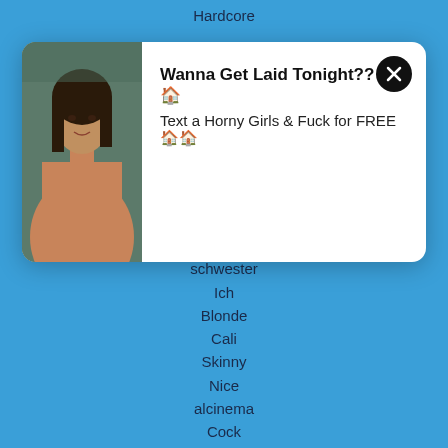Hardcore
schwester
Ich
Blonde
Cali
Skinny
Nice
alcinema
Cock
Desi
Busty
Hot Nurse
Tudung
No Captions -
Horny
Young
Alison
Old And
teen
[Figure (photo): Popup advertisement with photo of a woman on the left and text on the right reading 'Wanna Get Laid Tonight?? [emoji] Text a Horny Girls & Fuck for FREE [emoji]' with a close button.]